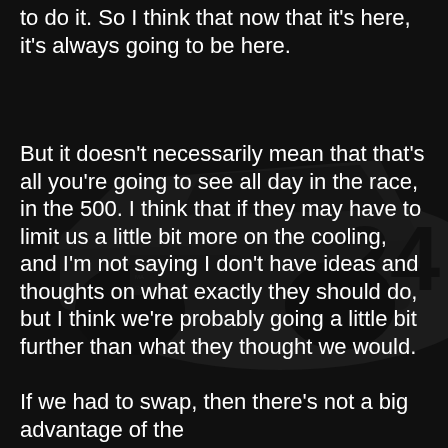[Figure (photo): Dark background photo of a NASCAR race car, number 24, with sponsor logos including MOOG. The image is dimmed/darkened.]
to do it. So I think that now that it's here, it's always going to be here.
But it doesn't necessarily mean that that's all you're going to see all day in the race, in the 500. I think that if they may have to limit us a little bit more on the cooling, and I'm not saying I don't have ideas and thoughts on what exactly they should do, but I think we're probably going a little bit further than what they thought we would.
If we had to swap, then there's not a big advantage of the